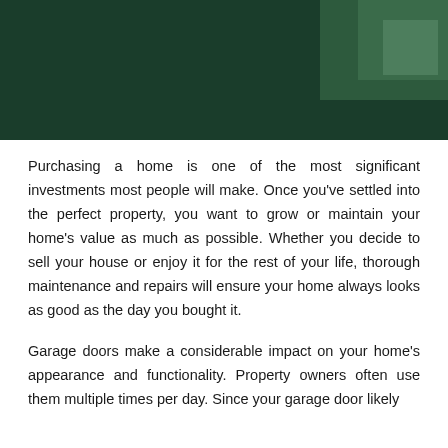[Figure (photo): Dark green banner image at top of page, appearing to show a garage or home exterior scene with deep green tones and some lighter rectangular highlights in the upper right.]
Purchasing a home is one of the most significant investments most people will make. Once you've settled into the perfect property, you want to grow or maintain your home's value as much as possible. Whether you decide to sell your house or enjoy it for the rest of your life, thorough maintenance and repairs will ensure your home always looks as good as the day you bought it.
Garage doors make a considerable impact on your home's appearance and functionality. Property owners often use them multiple times per day. Since your garage door likely